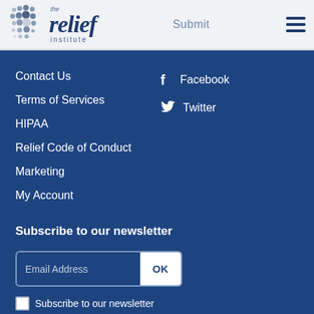the relief institute — Submit —
Contact Us
Terms of Services
HIPAA
Relief Code of Conduct
Marketing
My Account
Facebook
Twitter
Subscribe to our newsletter
Email Address  OK
Subscribe to our newsletter